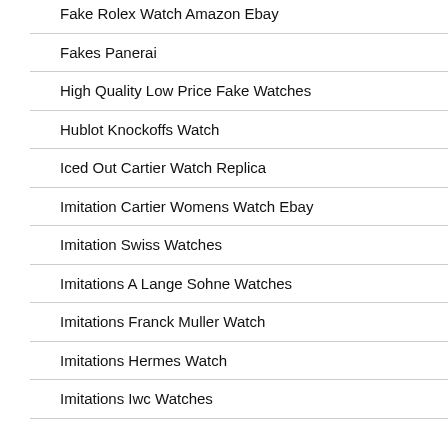Fake Rolex Watch Amazon Ebay
Fakes Panerai
High Quality Low Price Fake Watches
Hublot Knockoffs Watch
Iced Out Cartier Watch Replica
Imitation Cartier Womens Watch Ebay
Imitation Swiss Watches
Imitations A Lange Sohne Watches
Imitations Franck Muller Watch
Imitations Hermes Watch
Imitations Iwc Watches